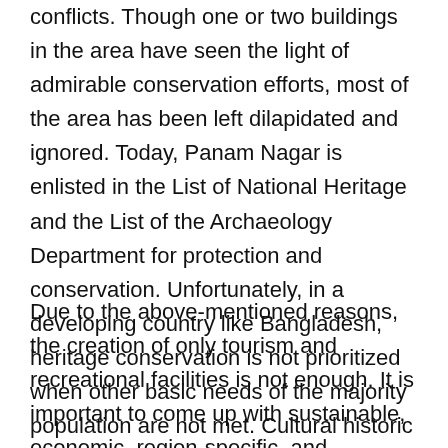conflicts. Though one or two buildings in the area have seen the light of admirable conservation efforts, most of the area has been left dilapidated and ignored. Today, Panam Nagar is enlisted in the List of National Heritage and the List of the Archaeology Department for protection and conservation. Unfortunately, in a developing country like Bangladesh, heritage conservation is not prioritized when other basic needs of the majority population are not met. Cultural historic structures are often demolished to meet the housing needs and economic needs of the majority population.
Due to the above-mentioned reasons, the creation of only tourism and recreational facilities is not enough. It is important to come up with sustainable, economic, region-specific, and community-inclusive solutions for this lost urban heritage. Regarding this issue, the 1987